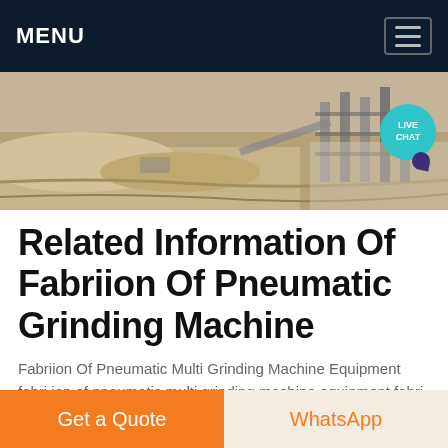MENU
[Figure (photo): Aerial/ground-level photo of a mining or quarry site with machinery, conveyor structures, and sandy terrain. A 'LIVE CHAT' bubble is overlaid in the top-right corner.]
Related Information Of Fabriion Of Pneumatic Grinding Machine
Fabriion Of Pneumatic Multi Grinding Machine Equipment fabri ion of pneumatic multi grinding machine equipment fabri ion of pneumatic multi grinding machine equipment PNEUMATIC MULTIPURPOSE MACHINE Syslog fabrication of pneumatic multi grinding machine equipment
Get a Quote
WhatsApp